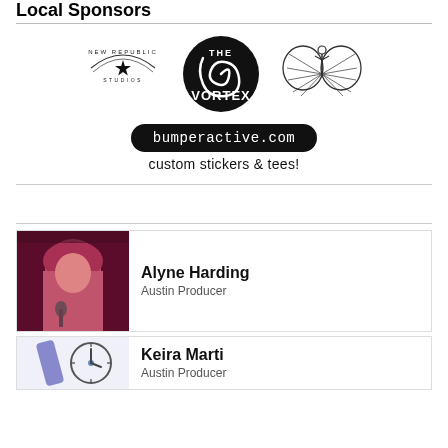Local Sponsors
[Figure (logo): Three sponsor logos in a row: New Republic Studios (star logo), The Vortex (spiral circle logo), and a butterfly/corkscrew logo]
[Figure (logo): bumperactive.com logo pill with text 'custom stickers & tees!' below]
[Figure (photo): Photo of Alyne Harding singing into a microphone, lit in pink/magenta light]
Alyne Harding
Austin Producer
[Figure (logo): Partial logos for Keira Marti's card - a diagonal line and a clock icon]
Keira Marti
Austin Producer